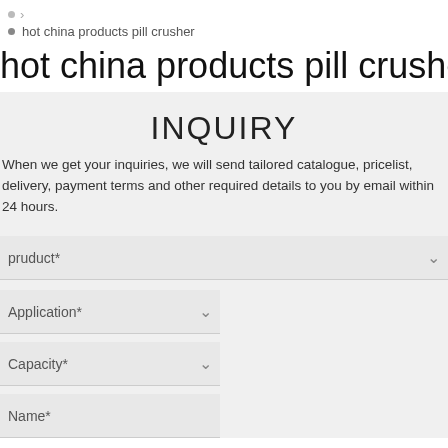> hot china products pill crusher
hot china products pill crusher
INQUIRY
When we get your inquiries, we will send tailored catalogue, pricelist, delivery, payment terms and other required details to you by email within 24 hours.
pruduct*
Application*
Capacity*
Name*